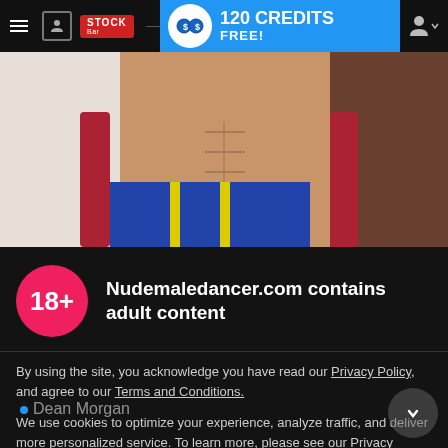120 CREDITS FREE!
[Figure (screenshot): Website screenshot showing a navigation bar with hamburger menu, user icon, Stock Bar logo, a blue banner reading '120 CREDITS FREE!' with coin icon, and a profile/user icon on the right.]
[Figure (photo): Torso photo of a male dancer wearing blue shorts with yellow stripe detail, arms raised behind head, sitting in a red chair against a white wall background.]
Nudemaledancer.com contains adult content
By using the site, you acknowledge you have read our Privacy Policy, and agree to our Terms and Conditions.
We use cookies to optimize your experience, analyze traffic, and deliver more personalized service. To learn more, please see our Privacy Policy.
I AGREE
Dean Morgan